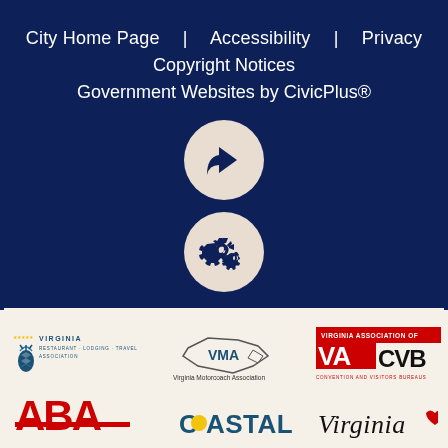City Home Page   Accessibility   Privacy   Copyright Notices   Government Websites by CivicPlus®
[Figure (illustration): Circular share/forward button icon on dark navy background]
[Figure (illustration): Circular settings/gear icon button on dark navy background]
[Figure (logo): Virginia Restaurant Lodging Travel Association logo]
[Figure (logo): Virginia Motorcoach Association (VMA) logo with Virginia state silhouette]
[Figure (logo): Virginia Association of CVB Convention and Visitors Bureaus logo]
[Figure (logo): ABA logo (partial)]
[Figure (logo): Coastal logo (partial)]
[Figure (logo): Virginia heart logo (partial)]